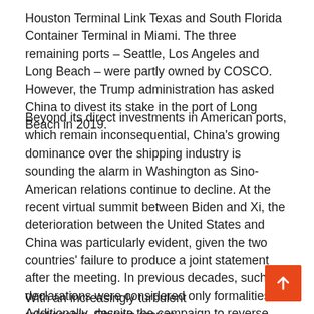Houston Terminal Link Texas and South Florida Container Terminal in Miami. The three remaining ports – Seattle, Los Angeles and Long Beach – were partly owned by COSCO. However, the Trump administration has asked China to divest its stake in the port of Long Beach in 2019.
Beyond its direct investments in American ports, which remain inconsequential, China's growing dominance over the shipping industry is sounding the alarm in Washington as Sino-American relations continue to decline. At the recent virtual summit between Biden and Xi, the deterioration between the United States and China was particularly evident, given the two countries' failure to produce a joint statement after the meeting. In previous decades, such declarations were considered only formalities. Additionally, despite the campaign to reverse President Trump's trade war with China, Biden left many aspects of Trump-era trade policy with China intact.
With an increasingly turbulent relationship, China's growin